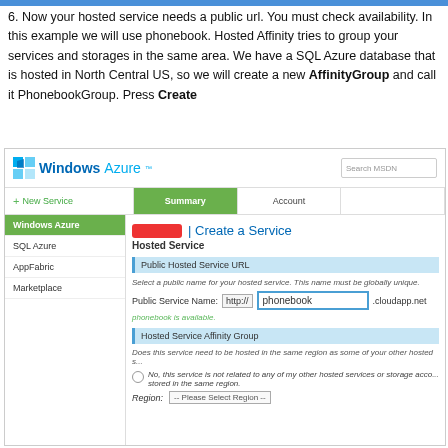6. Now your hosted service needs a public url. You must check availability. In this example we will use phonebook. Hosted Affinity tries to group your services and storages in the same area. We have a SQL Azure database that is hosted in North Central US, so we will create a new AffinityGroup and call it PhonebookGroup. Press Create
[Figure (screenshot): Screenshot of Windows Azure portal showing 'Create a Service' page for Hosted Service. Shows navigation with Windows Azure, SQL Azure, AppFabric, Marketplace. Content shows Public Hosted Service URL section with Public Service Name field containing 'phonebook' with http:// prefix and .cloudapp.net suffix. Shows 'phonebook is available' confirmation in green. Below is Hosted Service Affinity Group section with radio button option and Region selector.]